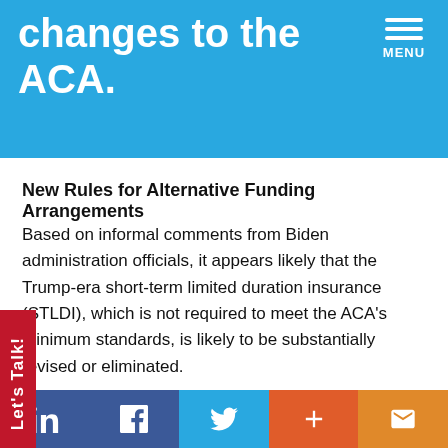changes to the ACA.
New Rules for Alternative Funding Arrangements
Based on informal comments from Biden administration officials, it appears likely that the Trump-era short-term limited duration insurance (STLDI), which is not required to meet the ACA's minimum standards, is likely to be substantially revised or eliminated.
also likely that we could see new rules and changes icable to other types of alternative funding ngements for health and welfare benefits that arose ng the Trump administration, such as association health
LinkedIn | Facebook | Twitter | + | Mail